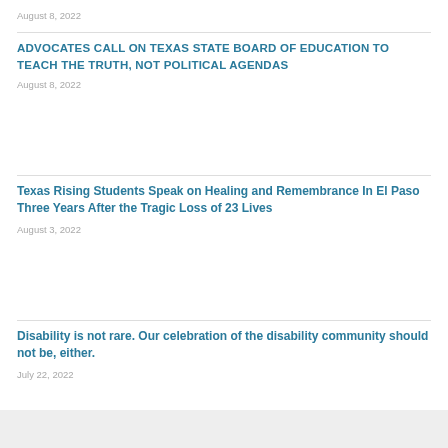August 8, 2022
ADVOCATES CALL ON TEXAS STATE BOARD OF EDUCATION TO TEACH THE TRUTH, NOT POLITICAL AGENDAS
August 8, 2022
Texas Rising Students Speak on Healing and Remembrance In El Paso Three Years After the Tragic Loss of 23 Lives
August 3, 2022
Disability is not rare. Our celebration of the disability community should not be, either.
July 22, 2022